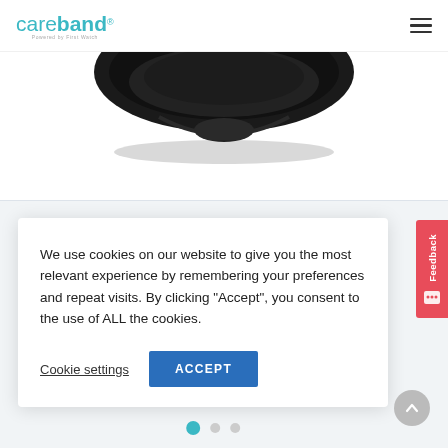careband® — Powered by First Watch
[Figure (photo): Product photo showing a black wearable device (careband) against a white background, partially cropped at top]
We use cookies on our website to give you the most relevant experience by remembering your preferences and repeat visits. By clicking "Accept", you consent to the use of ALL the cookies.
Cookie settings   ACCEPT